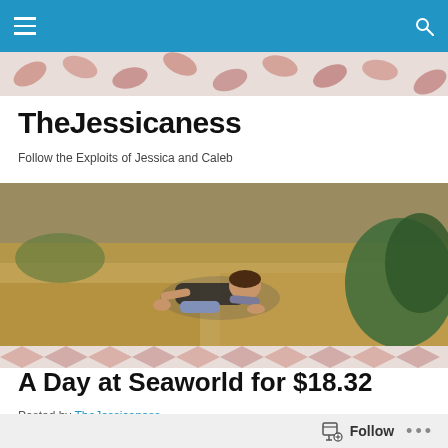TheJessicaness — navigation bar with menu and search icons
[Figure (photo): Decorative banner strip with repeating pink/red leaf or petal pattern on light background]
TheJessicaness
Follow the Exploits of Jessica and Caleb
[Figure (photo): Outdoor photo of a person doing a push-up or crawling on dry brown ground with desert vegetation and yucca plants in background]
[Figure (photo): Decorative banner strip with repeating chevron/leaf pattern]
A Day at Seaworld for $18.32
Posted by TheJessicaness
[Figure (photo): Partial view of a photo showing water or ocean scene with people]
Follow  •••